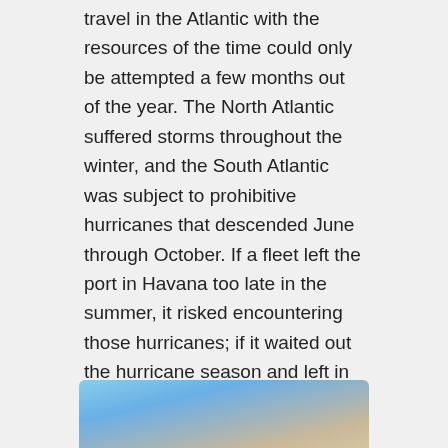travel in the Atlantic with the resources of the time could only be attempted a few months out of the year. The North Atlantic suffered storms throughout the winter, and the South Atlantic was subject to prohibitive hurricanes that descended June through October. If a fleet left the port in Havana too late in the summer, it risked encountering those hurricanes; if it waited out the hurricane season and left in October or November, it was likely to sail into a winter storm upon reaching northern parts. The only time of year that made for a relatively safe journey was a late spring departure from Spain, after the risk of winter gales had passed and before the onset of the late summer hurricanes.
[Figure (photo): Partial view of a photograph showing sky and sandy/beach scenery, cropped at the bottom of the page.]